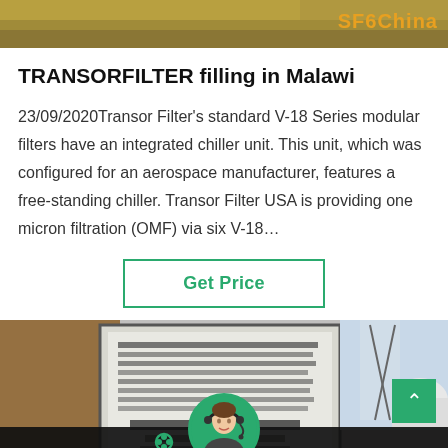[Figure (photo): Top banner with sandy/dirt terrain background and SF6China logo in orange text]
TRANSORFILTER filling in Malawi
23/09/2020Transor Filter's standard V-18 Series modular filters have an integrated chiller unit. This unit, which was configured for an aerospace manufacturer, features a free-standing chiller. Transor Filter USA is providing one micron filtration (OMF) via six V-18…
[Figure (other): Get Price button with green border]
[Figure (photo): Photo of industrial site with a large display board showing Chinese text, equipment and infrastructure in background, scroll-to-top green button in bottom right, and headset operator avatar with Leave Message and Chat Online bottom bar]